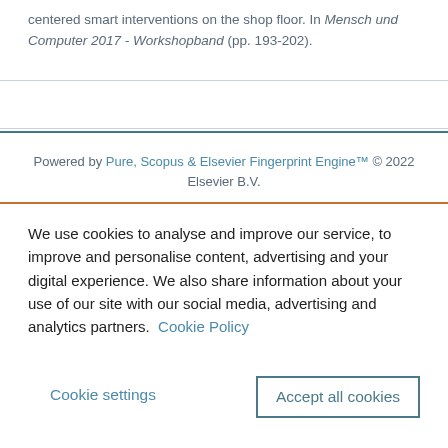centered smart interventions on the shop floor. In Mensch und Computer 2017 - Workshopband (pp. 193-202).
Powered by Pure, Scopus & Elsevier Fingerprint Engine™ © 2022 Elsevier B.V.
We use cookies to analyse and improve our service, to improve and personalise content, advertising and your digital experience. We also share information about your use of our site with our social media, advertising and analytics partners.  Cookie Policy
Cookie settings    Accept all cookies